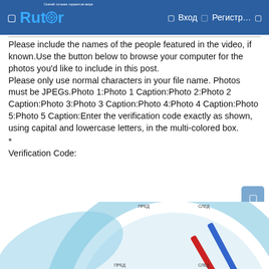Rutor — Вход — Регистр…
Please include the names of the people featured in the video, if known.Use the button below to browse your computer for the photos you'd like to include in this post.
Please only use normal characters in your file name. Photos must be JPEGs.Photo 1:Photo 1 Caption:Photo 2:Photo 2 Caption:Photo 3:Photo 3 Caption:Photo 4:Photo 4 Caption:Photo 5:Photo 5 Caption:Enter the verification code exactly as shown, using capital and lowercase letters, in the multi-colored box.
*
Verification Code:
[Figure (photo): Partial view of a magnifying glass with blue lens frame and red/blue pen visible, on a white background]